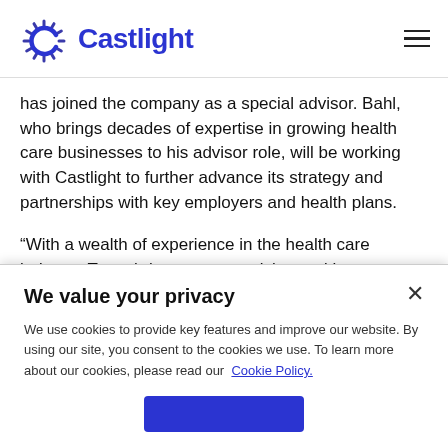Castlight
has joined the company as a special advisor. Bahl, who brings decades of expertise in growing health care businesses to his advisor role, will be working with Castlight to further advance its strategy and partnerships with key employers and health plans.
“With a wealth of experience in the health care industry, Tracy brings a strong vision and key relationships to Castlight,” said John Driscoll, Castlight Health president. “As a special advisor, Tracy will help us evolve how we engage
We value your privacy
We use cookies to provide key features and improve our website. By using our site, you consent to the cookies we use. To learn more about our cookies, please read our Cookie Policy.